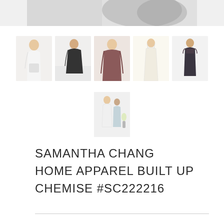[Figure (photo): Cropped top portion of a product or model photo, partially visible at the top of the page]
[Figure (photo): Row of five product thumbnail images showing women's lingerie/chemise garments in various styles and colors: white, black, mauve/burgundy, cream/ivory, dark charcoal]
[Figure (photo): Single thumbnail image showing two models wearing the chemise product]
SAMANTHA CHANG HOME APPAREL BUILT UP CHEMISE #SC222216